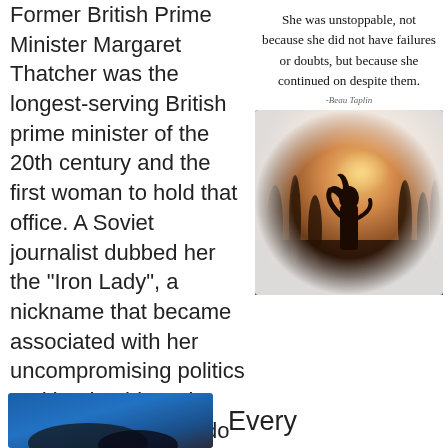Former British Prime Minister Margaret Thatcher was the longest-serving British prime minister of the 20th century and the first woman to hold that office. A Soviet journalist dubbed her the "Iron Lady", a nickname that became associated with her uncompromising politics and leadership style. She said "Defeat? I do not recognize the meaning of the word." and "You may have to fight a battle more than once to win it."
[Figure (photo): Inspirational quote image with a silhouette of a woman standing in a field at sunset, with the quote: 'She was unstoppable, not because she did not have failures or doubts, but because she continued on despite them.' attributed to Beau Taplin]
[Figure (photo): Bottom partial image showing a blue-toned photograph, partially visible]
Every